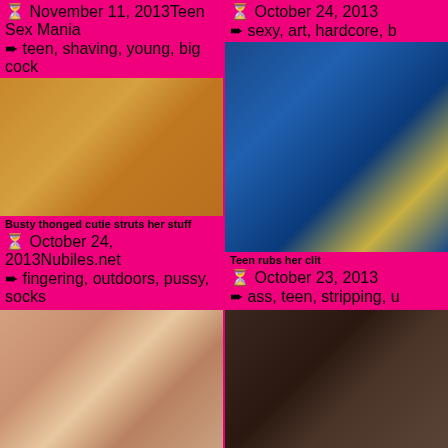November 11, 2013   Teen Sex Mania
teen, shaving, young, big cock
October 24, 2013
sexy, art, hardcore, b...
[Figure (photo): Woman in white dress against wooden wall background]
[Figure (photo): Partial view of person near blue vehicle]
Busty thonged cutie struts her stuff
Teen rubs her clit
October 24, 2013   Nubiles.net
fingering, outdoors, pussy, socks
October 23, 2013
ass, teen, stripping, u...
[Figure (photo): Blonde woman in oral sex scene]
[Figure (photo): Dark background with partial figure in dark clothing]